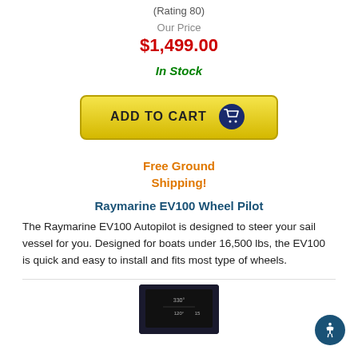(Rating 80)
Our Price
$1,499.00
In Stock
[Figure (illustration): Yellow 'ADD TO CART' button with dark blue shopping cart icon]
Free Ground Shipping!
Raymarine EV100 Wheel Pilot
The Raymarine EV100 Autopilot is designed to steer your sail vessel for you. Designed for boats under 16,500 lbs, the EV100 is quick and easy to install and fits most type of wheels.
[Figure (photo): Partial view of a Raymarine EV100 device with dark screen showing navigation display]
[Figure (illustration): Blue circular accessibility button with person icon, bottom right corner]